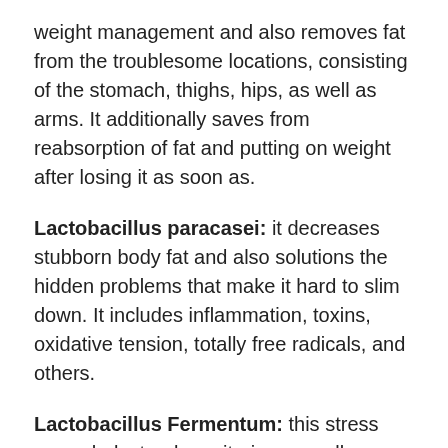weight management and also removes fat from the troublesome locations, consisting of the stomach, thighs, hips, as well as arms. It additionally saves from reabsorption of fat and putting on weight after losing it as soon as.
Lactobacillus paracasei: it decreases stubborn body fat and also solutions the hidden problems that make it hard to slim down. It includes inflammation, toxins, oxidative tension, totally free radicals, and others.
Lactobacillus Fermentum: this stress uses cholesterol monitoring as well as immunological benefits, straight influencing digestive system health. It likewise saves from respiratory system infections and likewise conditions.